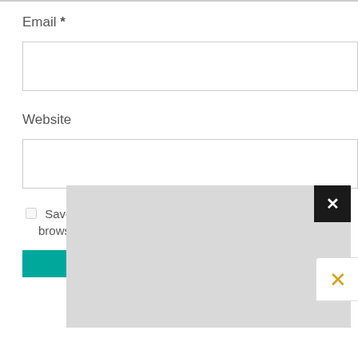Email *
[Figure (screenshot): Empty email text input field]
Website
[Figure (screenshot): Empty website text input field]
Save my name, email, and website in this browser
[Figure (screenshot): Gray overlay popup with black X close button in top-right corner]
[Figure (screenshot): Orange/gold X close button in bottom-right corner overlay]